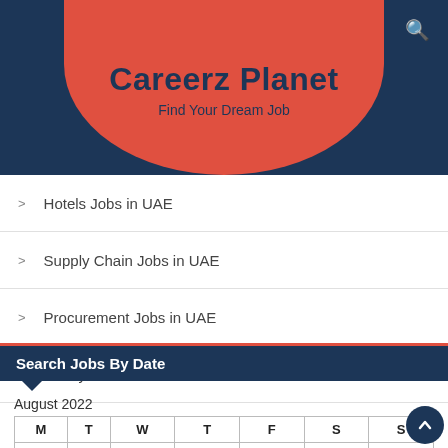[Figure (logo): Careerz Planet logo with red oval shape on dark navy header. Title reads 'Careerz Planet' and subtitle 'Find Your Dream Job']
Hotels Jobs in UAE
Supply Chain Jobs in UAE
Procurement Jobs in UAE
Safety Officer Jobs in UAE
Search Jobs By Date
August 2022
| M | T | W | T | F | S | S |
| --- | --- | --- | --- | --- | --- | --- |
| 1 | 2 | 3 | 4 | 5 | 6 | 7 |
| 8 | 9 | 10 | 11 | 12 | 13 | 14 |